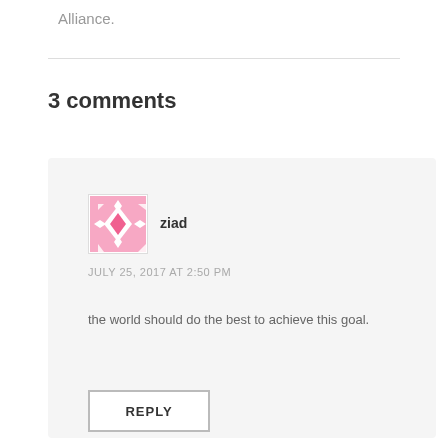Alliance.
3 comments
ziad
JULY 25, 2017 AT 2:50 PM
the world should do the best to achieve this goal.
REPLY